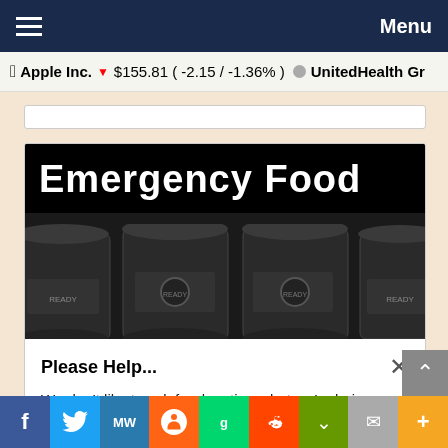≡  Menu
Apple Inc. ▼ $155.81 ( -2.15 / -1.36% )   ○ UnitedHealth Gr
[Figure (photo): Emergency Food product image showing metal cans stacked together with black banner header text 'Emergency Food']
Please Help...
We don't like to ask for donations, but we're being silenced at every turn...
Thank you!
f  Twitter  MW  [Parler]  gab  Reddit  [Gettr]  [Email]  +